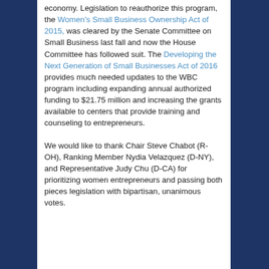economy. Legislation to reauthorize this program, the Women's Small Business Ownership Act of 2015, was cleared by the Senate Committee on Small Business last fall and now the House Committee has followed suit. The Developing the Next Generation of Small Businesses Act of 2016 provides much needed updates to the WBC program including expanding annual authorized funding to $21.75 million and increasing the grants available to centers that provide training and counseling to entrepreneurs.
We would like to thank Chair Steve Chabot (R-OH), Ranking Member Nydia Velazquez (D-NY), and Representative Judy Chu (D-CA) for prioritizing women entrepreneurs and passing both pieces legislation with bipartisan, unanimous votes.